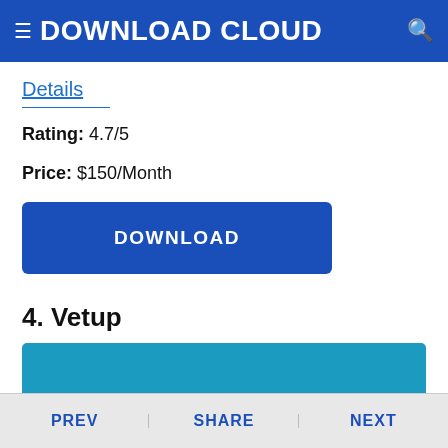DOWNLOAD CLOUD
Details
Rating: 4.7/5
Price: $150/Month
DOWNLOAD
4. Vetup
[Figure (screenshot): Screenshot of the Vetup veterinary software website showing navigation bar with Vetup logo, menu items: Veterinary Software, Features, Pricing, Options, About us, Other services, Contact, and social media flags/icons on a dark background with light blue background above.]
PREV    SHARE    NEXT